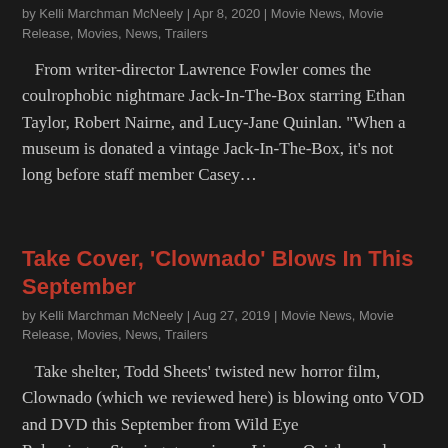by Kelli Marchman McNeely | Apr 8, 2020 | Movie News, Movie Release, Movies, News, Trailers
From writer-director Lawrence Fowler comes the coulrophobic nightmare Jack-In-The-Box starring Ethan Taylor, Robert Nairne, and Lucy-Jane Quinlan. "When a museum is donated a vintage Jack-In-The-Box, it's not long before staff member Casey...
Take Cover, 'Clownado' Blows In This September
by Kelli Marchman McNeely | Aug 27, 2019 | Movie News, Movie Release, Movies, News, Trailers
Take shelter, Todd Sheets' twisted new horror film, Clownado (which we reviewed here) is blowing onto VOD and DVD this September from Wild Eye Releasing.    Starring genre icons Linnea Quigley and Eileen Dietz, Clownado...